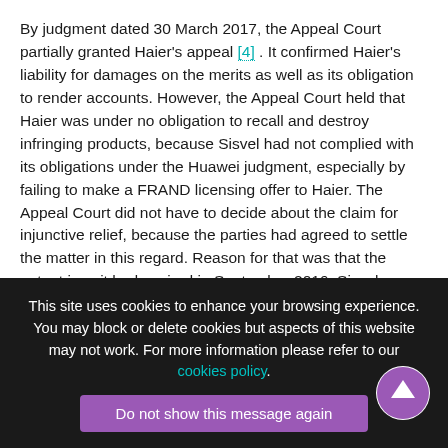By judgment dated 30 March 2017, the Appeal Court partially granted Haier's appeal [4] . It confirmed Haier's liability for damages on the merits as well as its obligation to render accounts. However, the Appeal Court held that Haier was under no obligation to recall and destroy infringing products, because Sisvel had not complied with its obligations under the Huawei judgment, especially by failing to make a FRAND licensing offer to Haier. The Appeal Court did not have to decide about the claim for injunctive relief, because the parties had agreed to settle the matter in this regard. Reason for that was that the patent in suit had expired in September 2016. Sisvel appealed the decision of the Appeal Court.
This site uses cookies to enhance your browsing experience. You may block or delete cookies but aspects of this website may not work. For more information please refer to our cookies policy. Do not show this message again